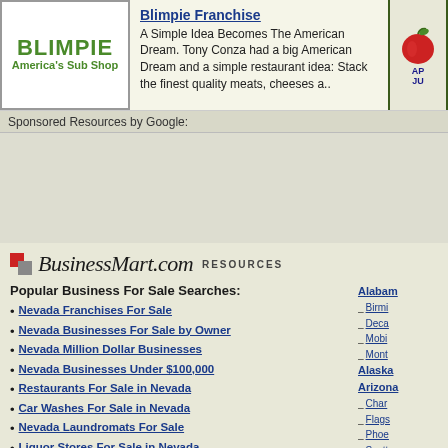[Figure (logo): Blimpie America's Sub Shop logo - green text on white background with border]
Blimpie Franchise
A Simple Idea Becomes The American Dream. Tony Conza had a big American Dream and a simple restaurant idea: Stack the finest quality meats, cheeses a..
[Figure (illustration): Apple graphic with green border background, partially visible text AP JU]
Sponsored Resources by Google:
[Figure (screenshot): Google sponsored ad area - beige/gray background]
[Figure (logo): BusinessMart.com RESOURCES logo with red square icon]
Popular Business For Sale Searches:
Nevada Franchises For Sale
Nevada Businesses For Sale by Owner
Nevada Million Dollar Businesses
Nevada Businesses Under $100,000
Restaurants For Sale in Nevada
Car Washes For Sale in Nevada
Nevada Laundromats For Sale
Liquor Stores For Sale in Nevada
Nevada Gas Stations For Sale
Convenience Stores For Sale in Nevada
Internet Business For Sale in Nevada
Nevada Nightclubs & Bars For Sale
Automotive Businesses For Sale in Nevada
Nevada Routes For Sale
Nevada Pet Businesses For Sale
Alabama
– Birmi
– Deca
– Mobi
– Mont
Alaska
Arizona
– Char
– Flags
– Phoe
– Scott
– Temp
– Tucso
Arkans
– Faye
– Little
Califor
– Long
– Los A